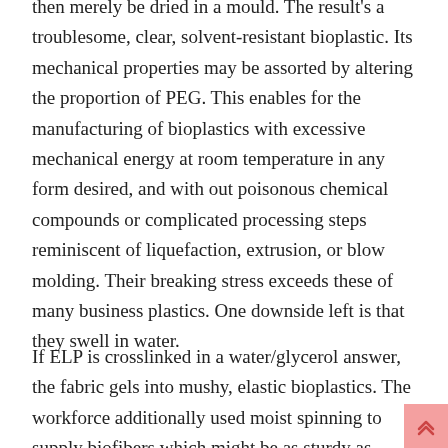then merely be dried in a mould. The result's a troublesome, clear, solvent-resistant bioplastic. Its mechanical properties may be assorted by altering the proportion of PEG. This enables for the manufacturing of bioplastics with excessive mechanical energy at room temperature in any form desired, and with out poisonous chemical compounds or complicated processing steps reminiscent of liquefaction, extrusion, or blow molding. Their breaking stress exceeds these of many business plastics. One downside left is that they swell in water.
If ELP is crosslinked in a water/glycerol answer, the fabric gels into mushy, elastic bioplastics. The workforce additionally used moist spinning to supply biofibers which might be as sturdy as some biotechnological spider silks. The pure enzyme elastase fully degrades the entire new